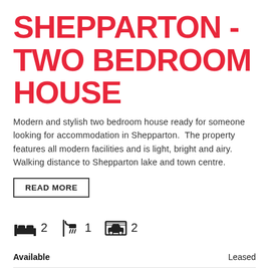SHEPPARTON - TWO BEDROOM HOUSE
Modern and stylish two bedroom house ready for someone looking for accommodation in Shepparton.  The property features all modern facilities and is light, bright and airy. Walking distance to Shepparton lake and town centre.
READ MORE
[Figure (infographic): Icons showing: bed (2), shower (1), garage (2)]
|  |  |
| --- | --- |
| Available | Leased |
| Address | 33 Meaklim St, Shepparton |
| Price | $380.00 Per Week |
| Property Type | Rental |
| Property ID | 3856 |